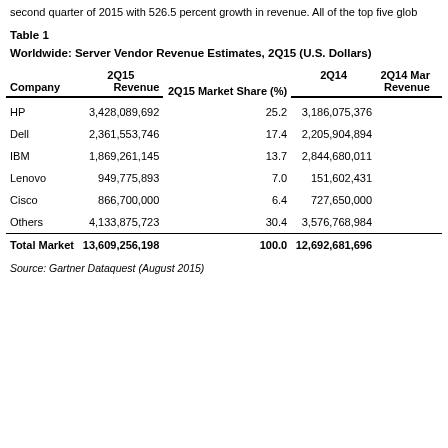second quarter of 2015 with 526.5 percent growth in revenue. All of the top five glob
Table 1
Worldwide: Server Vendor Revenue Estimates, 2Q15 (U.S. Dollars)
| Company | 2Q15 Revenue | 2Q15 Market Share (%) | 2Q14 Revenue | 2Q14 Mar |
| --- | --- | --- | --- | --- |
| HP | 3,428,089,692 | 25.2 | 3,186,075,376 |  |
| Dell | 2,361,553,746 | 17.4 | 2,205,904,894 |  |
| IBM | 1,869,261,145 | 13.7 | 2,844,680,011 |  |
| Lenovo | 949,775,893 | 7.0 | 151,602,431 |  |
| Cisco | 866,700,000 | 6.4 | 727,650,000 |  |
| Others | 4,133,875,723 | 30.4 | 3,576,768,984 |  |
| Total Market | 13,609,256,198 | 100.0 | 12,692,681,696 |  |
Source: Gartner Dataquest (August 2015)